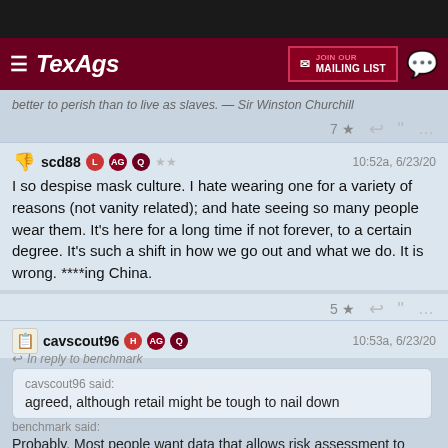[Figure (screenshot): TexAgs website navigation bar with dark red background, hamburger menu, TexAgs logo, JOIN OUR MAILING LIST button, and chat icon]
better to perish than to live as slaves. — Sir Winston Churchill
7 ★ ↩ ❝ …
scd88  L AG Q ★★  10:52a, 6/23/20
I so despise mask culture. I hate wearing one for a variety of reasons (not vanity related); and hate seeing so many people wear them. It's here for a long time if not forever, to a certain degree. It's such a shift in how we go out and what we do. It is wrong. ****ing China.
5 ★ ↩ ❝ …
cavscout96  H AG Q  10:53a, 6/23/20
In reply to benchmark
cavscout96 said: agreed, although retail might be tough to nail down
benchmark said: Probably. Most people want data that allows risk assessment to